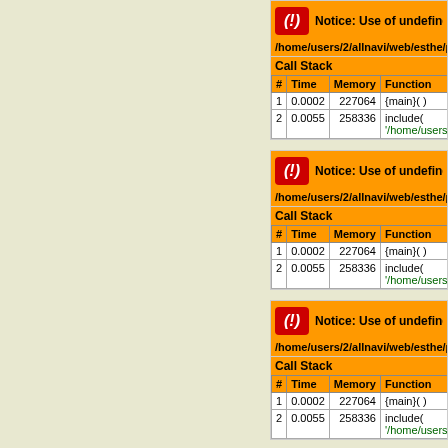| # | Time | Memory | Function |
| --- | --- | --- | --- |
| 1 | 0.0002 | 227064 | {main}( ) |
| 2 | 0.0055 | 258336 | include( '/home/users/2/allnavi/web... |
| # | Time | Memory | Function |
| --- | --- | --- | --- |
| 1 | 0.0002 | 227064 | {main}( ) |
| 2 | 0.0055 | 258336 | include( '/home/users/2/allnavi/web... |
| # | Time | Memory | Function |
| --- | --- | --- | --- |
| 1 | 0.0002 | 227064 | {main}( ) |
| 2 | 0.0055 | 258336 | include( '/home/users/2/allnavi/web... |
| # | Time | Memory | Function |
| --- | --- | --- | --- |
| 1 | 0.0002 | 227064 | {main}( ) |
| 2 | 0.0055 | 258336 | include( '/home/users/2/allnavi/web... |